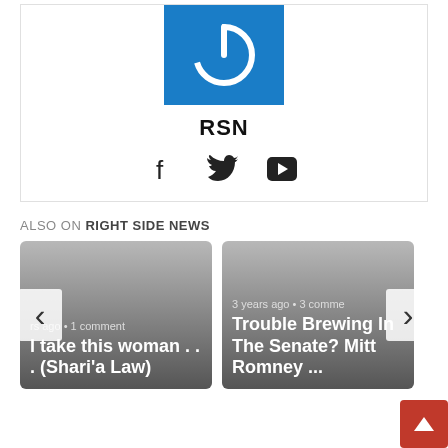[Figure (logo): RSN blue power button logo icon]
RSN
[Figure (infographic): Social media icons: Facebook, Twitter, YouTube]
ALSO ON RIGHT SIDE NEWS
[Figure (infographic): Article card: I take this woman . . . (Shari'a Law) - 3 years ago, 1 comment]
[Figure (infographic): Article card: Trouble Brewing In The Senate? Mitt Romney ... - 3 years ago, 3 comments]